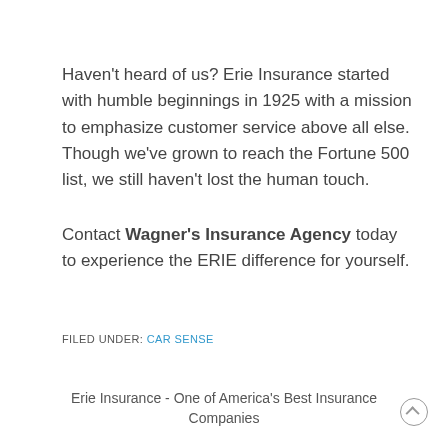Haven't heard of us? Erie Insurance started with humble beginnings in 1925 with a mission to emphasize customer service above all else. Though we've grown to reach the Fortune 500 list, we still haven't lost the human touch.
Contact Wagner's Insurance Agency today to experience the ERIE difference for yourself.
FILED UNDER: CAR SENSE
Erie Insurance - One of America's Best Insurance Companies